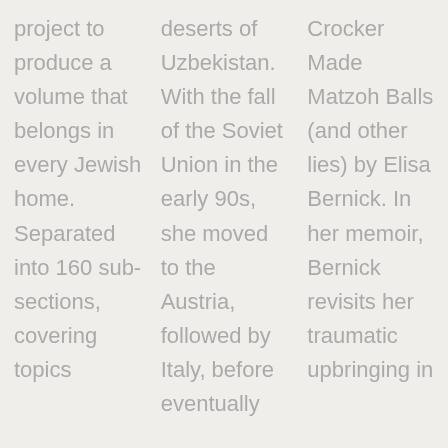project to produce a volume that belongs in every Jewish home. Separated into 160 sub-sections, covering topics
deserts of Uzbekistan. With the fall of the Soviet Union in the early 90s, she moved to the Austria, followed by Italy, before eventually
Crocker Made Matzoh Balls (and other lies) by Elisa Bernick. In her memoir, Bernick revisits her traumatic upbringing in
Advertisements
[Figure (infographic): Social media sharing buttons: Facebook, Twitter, Email, Pinterest, Reddit, LinkedIn, WhatsApp, Plus, More]